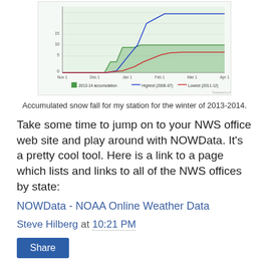[Figure (continuous-plot): Line chart showing accumulated snowfall for a weather station for winter 2013-2014 compared to highest (2006-07) and lowest (2011-12) on record. X-axis spans Nov 1 to Apr 1; Y-axis 0 to 15. Three lines: green area for 2013-14 accumulation, blue for highest (2006-07), red for lowest (2011-12).]
Accumulated snow fall for my station for the winter of 2013-2014.
Take some time to jump on to your NWS office web site and play around with NOWData. It's a pretty cool tool. Here is a link to a page which lists and links to all of the NWS offices by state:
NOWData - NOAA Online Weather Data
Steve Hilberg at 10:21 PM
Share
7 comments: